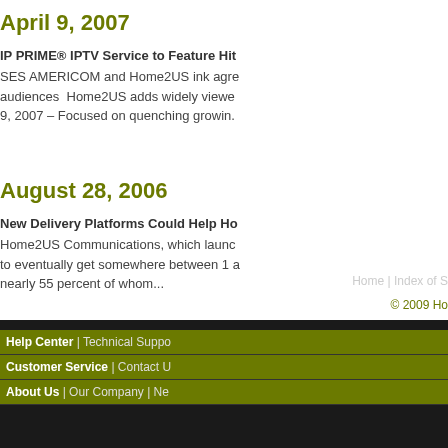April 9, 2007
IP PRIME® IPTV Service to Feature Hit SES AMERICOM and Home2US ink agre audiences  Home2US adds widely viewe 9, 2007 – Focused on quenching growin.
August 28, 2006
New Delivery Platforms Could Help Ho Home2US Communications, which launc to eventually get somewhere between 1 a nearly 55 percent of whom...
Help Center | Technical Suppo Customer Service | Contact U About Us | Our Company | Ne Home | Index of S © 2009 Ho